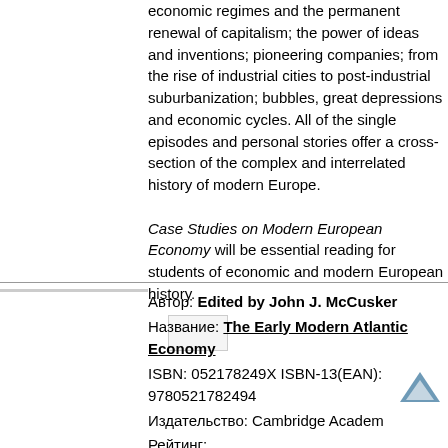economic regimes and the permanent renewal of capitalism; the power of ideas and inventions; pioneering companies; from the rise of industrial cities to post-industrial suburbanization; bubbles, great depressions and economic cycles. All of the single episodes and personal stories offer a cross-section of the complex and interrelated history of modern Europe.
Case Studies on Modern European Economy will be essential reading for students of economic and modern European history.
Автор: Edited by John J. McCusker
Название: The Early Modern Atlantic Economy
ISBN: 052178249X ISBN-13(EAN): 9780521782494
Издательство: Cambridge Academ
Рейтинг:
Цена: 11913 р.
Наличие на складе: Поставка под заказ.
Описание: This book throws new light on the interlocking commercial relationships of the Atlantic trading world during the centuries